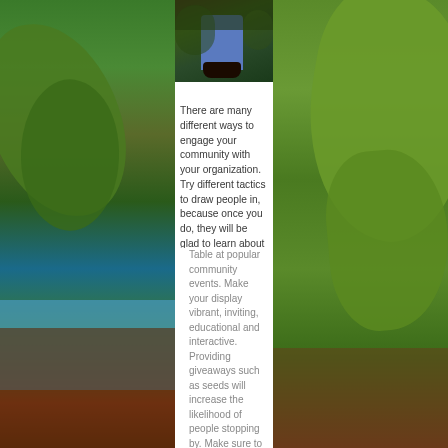[Figure (photo): Top portion showing person's jeans and boots standing in garden/soil among plants]
There are many different ways to engage your community with your organization. Try different tactics to draw people in, because once you do, they will be glad to learn about what you're doing!
Table at popular community events. Make your display vibrant, inviting, educational and interactive. Providing giveaways such as seeds will increase the likelihood of people stopping by. Make sure to bring a spreadsheet for volunteers to sign up as well
[Figure (photo): Left decorative column with green leaves and plants]
[Figure (photo): Right decorative column with green leaves and plants]